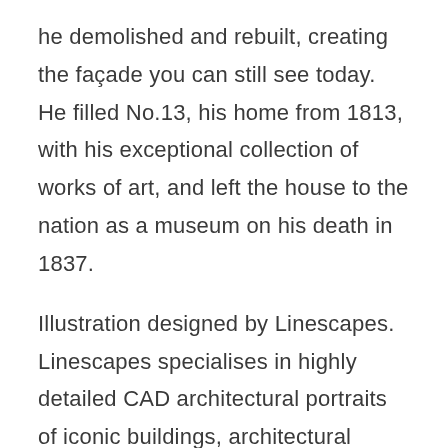he demolished and rebuilt, creating the façade you can still see today. He filled No.13, his home from 1813, with his exceptional collection of works of art, and left the house to the nation as a museum on his death in 1837.
Illustration designed by Linescapes.  Linescapes specialises in highly detailed CAD architectural portraits of iconic buildings, architectural landmarks and bespoke commissions. Set up in 2014 by Amalia Sanchez de la Blanca, Linescapes offers a range of architecture-inspired prints, cards and gifts. The aim is to tap onto people's emotional relationships with buildings. Architecture can evoke memories, a sense of belonging and relate to our